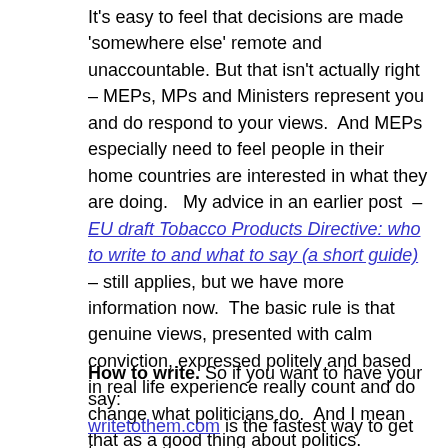It's easy to feel that decisions are made 'somewhere else' remote and unaccountable. But that isn't actually right – MEPs, MPs and Ministers represent you and do respond to your views.  And MEPs especially need to feel people in their home countries are interested in what they are doing.   My advice in an earlier post  – EU draft Tobacco Products Directive: who to write to and what to say (a short guide)  – still applies, but we have more information now.  The basic rule is that genuine views, presented with calm conviction, expressed politely and based in real life experience really count and do change what politicians do.  And I mean that as a good thing about politics.
How to write. So if you want to have your say: writetothem.com is the fastest way to get to your